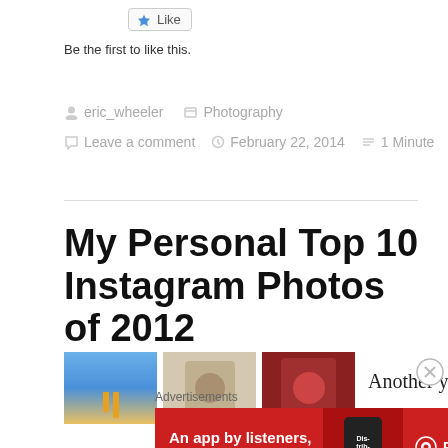[Figure (screenshot): Like button with blue star icon]
Be the first to like this.
eric_wheeler   Photography
Leave a comment   February 22, 2014   1 Minute
My Personal Top 10 Instagram Photos of 2012
[Figure (photo): Three thumbnail photos: blue sky scene, cream/sepia portrait, red portrait]
Another year
Advertisements
[Figure (screenshot): Pocket Casts advertisement banner - An app by listeners, for listeners.]